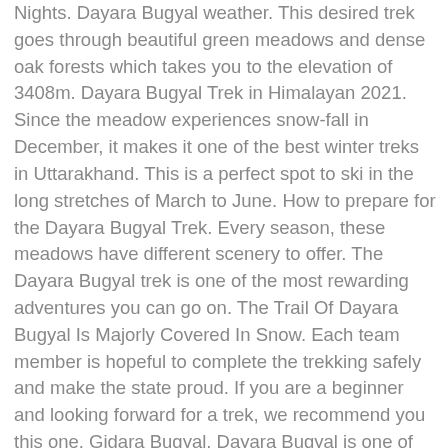Nights. Dayara Bugyal weather. This desired trek goes through beautiful green meadows and dense oak forests which takes you to the elevation of 3408m. Dayara Bugyal Trek in Himalayan 2021. Since the meadow experiences snow-fall in December, it makes it one of the best winter treks in Uttarakhand. This is a perfect spot to ski in the long stretches of March to June. How to prepare for the Dayara Bugyal Trek. Every season, these meadows have different scenery to offer. The Dayara Bugyal trek is one of the most rewarding adventures you can go on. The Trail Of Dayara Bugyal Is Majorly Covered In Snow. Each team member is hopeful to complete the trekking safely and make the state proud. If you are a beginner and looking forward for a trek, we recommend you this one. Gidara Bugyal, Dayara Bugyal is one of the best alpine meadows of India which stretches from one snowy mountain peak to another. Dehradun is around 250km away from Delhi. To be more specific, the best time to visit Dayara Bugyal is in December according to the popular choice... Many